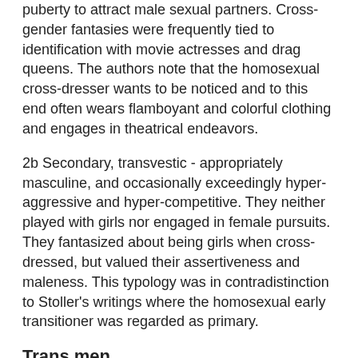puberty to attract male sexual partners. Cross-gender fantasies were frequently tied to identification with movie actresses and drag queens. The authors note that the homosexual cross-dresser wants to be noticed and to this end often wears flamboyant and colorful clothing and engages in theatrical endeavors.
2b Secondary, transvestic - appropriately masculine, and occasionally exceedingly hyper-aggressive and hyper-competitive. They neither played with girls nor engaged in female pursuits. They fantasized about being girls when cross-dressed, but valued their assertiveness and maleness. This typology was in contradistinction to Stoller's writings where the homosexual early transitioner was regarded as primary.
Trans men
With regard to trans men, Ovesey and Person write:
“we have concluded from a study of female transsexuals that there is no female equivalent of primary male transsexualism. In our opinion, the transsexual syndrome in women develops only in